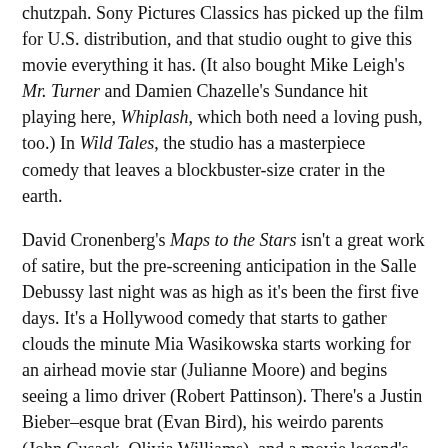chutzpah. Sony Pictures Classics has picked up the film for U.S. distribution, and that studio ought to give this movie everything it has. (It also bought Mike Leigh's Mr. Turner and Damien Chazelle's Sundance hit playing here, Whiplash, which both need a loving push, too.) In Wild Tales, the studio has a masterpiece comedy that leaves a blockbuster-size crater in the earth.
David Cronenberg's Maps to the Stars isn't a great work of satire, but the pre-screening anticipation in the Salle Debussy last night was as high as it's been the first five days. It's a Hollywood comedy that starts to gather clouds the minute Mia Wasikowska starts working for an airhead movie star (Julianne Moore) and begins seeing a limo driver (Robert Pattinson). There's a Justin Bieber–esque brat (Evan Bird), his weirdo parents (John Cusack, Olivia Williams), and a movie legend's ghost (Sarah Gadon) that won't leave poor, high-strung Moore alone.
Bruce Wagner wrote the script, and it's not quite there as a full comedy. It slips and falls into a conclusion instead of building to one. There are some good (if easy) showbiz jokes. Maps splits the